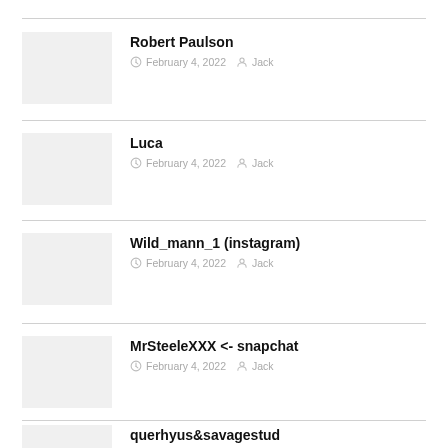Robert Paulson — February 4, 2022 — Jack
Luca — February 4, 2022 — Jack
Wild_mann_1 (instagram) — February 4, 2022 — Jack
MrSteeleXXX <- snapchat — February 4, 2022 — Jack
querhyus&savagestud